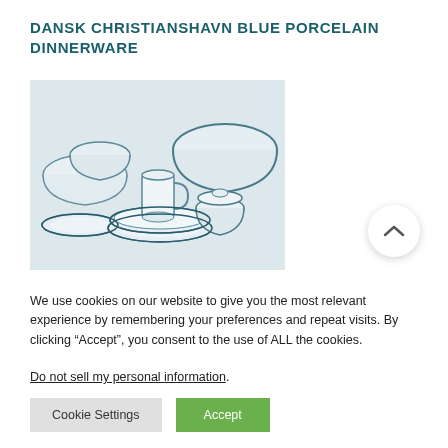DANSK CHRISTIANSHAVN BLUE PORCELAIN DINNERWARE
[Figure (photo): Dansk Christianshavn Blue porcelain dinnerware set displayed on a white surface, including bowls, plates, mugs, and a sugar bowl with blue rim accents]
We use cookies on our website to give you the most relevant experience by remembering your preferences and repeat visits. By clicking “Accept”, you consent to the use of ALL the cookies.
Do not sell my personal information.
Cookie Settings   Accept